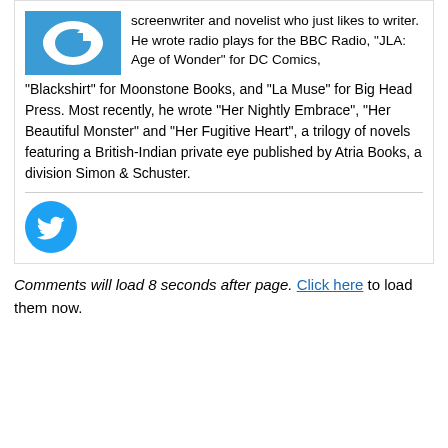[Figure (illustration): Blue square avatar with white circular arrow/refresh icon (partially visible at top)]
screenwriter and novelist who just likes to writer. He wrote radio plays for the BBC Radio, “JLA: Age of Wonder” for DC Comics, “Blackshirt” for Moonstone Books, and “La Muse” for Big Head Press. Most recently, he wrote “Her Nightly Embrace”, “Her Beautiful Monster” and “Her Fugitive Heart”, a trilogy of novels featuring a British-Indian private eye published by Atria Books, a division Simon & Schuster.
[Figure (logo): Twitter bird logo icon in blue circle]
Comments will load 8 seconds after page. Click here to load them now.